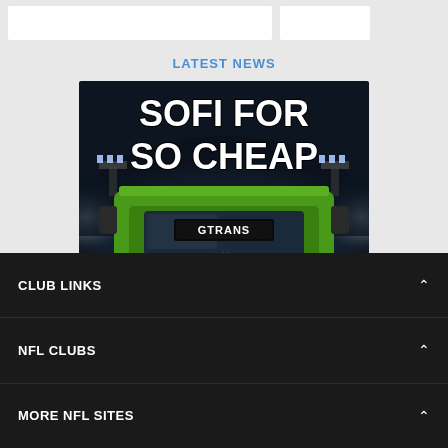LATEST NEWS
[Figure (photo): Advertisement image showing a green GTRANS bus in a football stadium with bright lights. Text reads 'SOFI FOR SO CHEAP' in large white bold letters at the top, 'GTRANS' on the bus windshield display, and 'FREE PARKING + $4 ROUND-TRIPS' at the bottom in white bold text.]
CLUB LINKS
NFL CLUBS
MORE NFL SITES